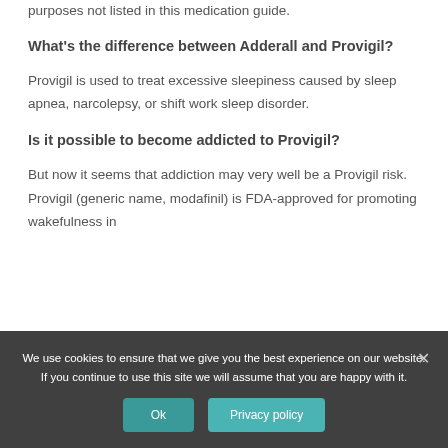purposes not listed in this medication guide.
What's the difference between Adderall and Provigil?
Provigil is used to treat excessive sleepiness caused by sleep apnea, narcolepsy, or shift work sleep disorder.
Is it possible to become addicted to Provigil?
But now it seems that addiction may very well be a Provigil risk. Provigil (generic name, modafinil) is FDA-approved for promoting wakefulness in
We use cookies to ensure that we give you the best experience on our website. If you continue to use this site we will assume that you are happy with it.